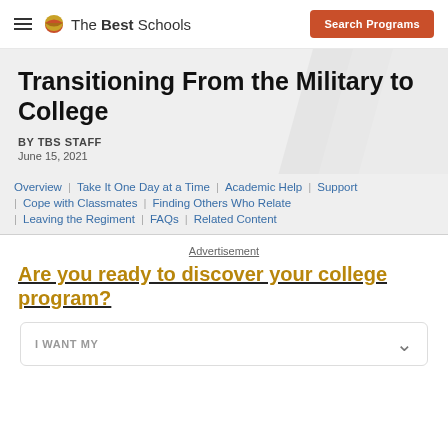The Best Schools | Search Programs
Transitioning From the Military to College
BY TBS STAFF
June 15, 2021
Overview | Take It One Day at a Time | Academic Help | Support | Cope with Classmates | Finding Others Who Relate | Leaving the Regiment | FAQs | Related Content
Advertisement
Are you ready to discover your college program?
I WANT MY